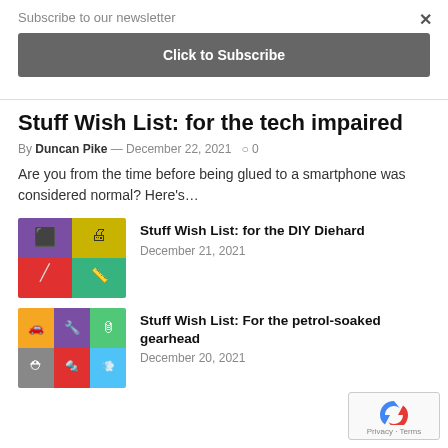Subscribe to our newsletter
Click to Subscribe
Stuff Wish List: for the tech impaired
By Duncan Pike — December 22, 2021  0
Are you from the time before being glued to a smartphone was considered normal? Here's…
[Figure (photo): Colorful grid collage of DIY tools including 3D printer, laser measure, and other gadgets]
Stuff Wish List: for the DIY Diehard
December 21, 2021
[Figure (photo): Colorful grid collage of petrol/car related items including a toy car, helmet, toolbox]
Stuff Wish List: For the petrol-soaked gearhead
December 20, 2021